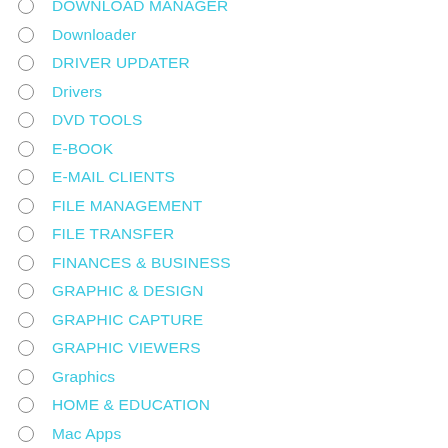DOWNLOAD MANAGER
Downloader
DRIVER UPDATER
Drivers
DVD TOOLS
E-BOOK
E-MAIL CLIENTS
FILE MANAGEMENT
FILE TRANSFER
FINANCES & BUSINESS
GRAPHIC & DESIGN
GRAPHIC CAPTURE
GRAPHIC VIEWERS
Graphics
HOME & EDUCATION
Mac Apps